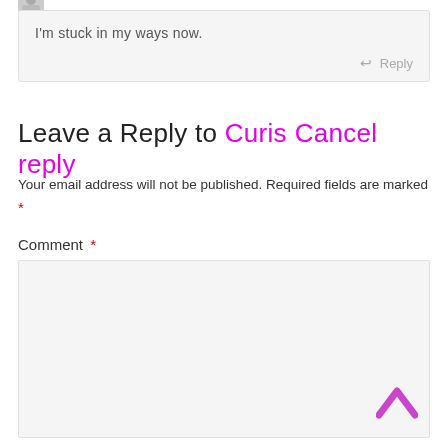[Figure (photo): Small avatar image at top left]
I'm stuck in my ways now.
Reply
Leave a Reply to Curis   Cancel reply
Your email address will not be published. Required fields are marked *
Comment *
[Figure (other): Comment text input area (empty textarea)]
[Figure (other): Up/back-to-top arrow chevron icon in magenta/pink]